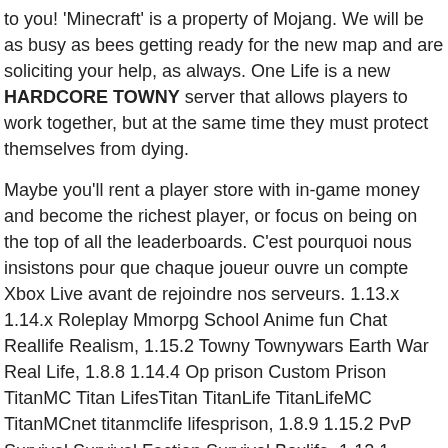to you! 'Minecraft' is a property of Mojang. We will be as busy as bees getting ready for the new map and are soliciting your help, as always. One Life is a new HARDCORE TOWNY server that allows players to work together, but at the same time they must protect themselves from dying.
Maybe you'll rent a player store with in-game money and become the richest player, or focus on being on the top of all the leaderboards. C'est pourquoi nous insistons pour que chaque joueur ouvre un compte Xbox Live avant de rejoindre nos serveurs. 1.13.x 1.14.x Roleplay Mmorpg School Anime fun Chat Reallife Realism, 1.15.2 Towny Townywars Earth War Real Life, 1.8.8 1.14.4 Op prison Custom Prison TitanMC Titan LifesTitan TitanLife TitanLifeMC TitanMCnet titanmclife lifesprison, 1.8.9 1.15.2 PvP Survival Survival Faction Survival Boxlife, 1.12.1 Reallife Roleplay Factions Drugs Guns, Latest 1.15.2 Real Life Life Roleplay Simulation PvP PvE Jobs Cops Jail,